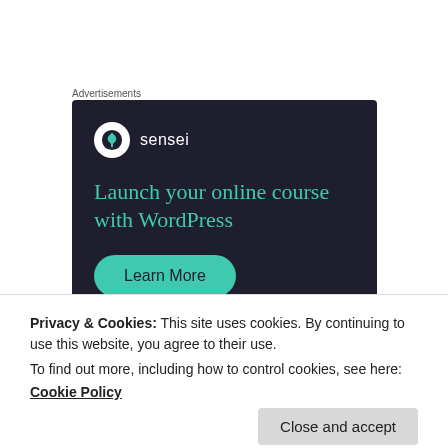Advertisements
[Figure (illustration): Sensei advertisement banner with dark background. Shows Sensei logo (tree icon in white circle) and brand name 'sensei', headline 'Launch your online course with WordPress' in teal, and a 'Learn More' teal button.]
Privacy & Cookies: This site uses cookies. By continuing to use this website, you agree to their use.
To find out more, including how to control cookies, see here:
Cookie Policy
Close and accept
was the catalyst for our move, a big part of it was this